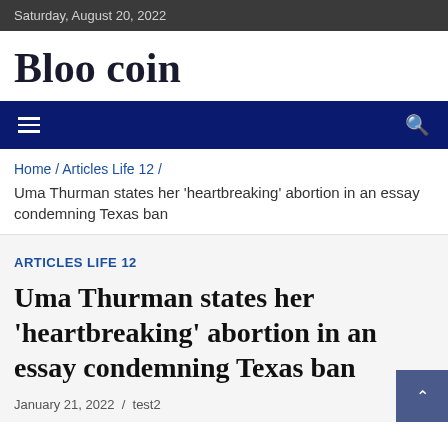Saturday, August 20, 2022
Bloo coin
☰  🔍
Home / Articles Life 12 / Uma Thurman states her 'heartbreaking' abortion in an essay condemning Texas ban
ARTICLES LIFE 12
Uma Thurman states her 'heartbreaking' abortion in an essay condemning Texas ban
January 21, 2022  /  test2